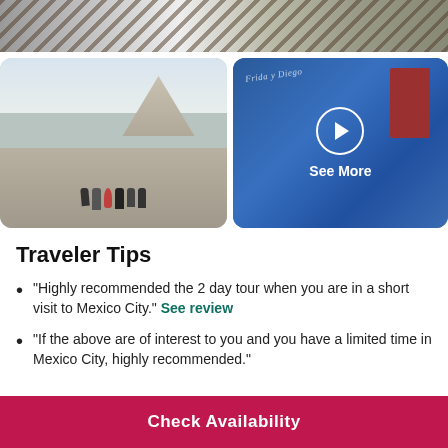[Figure (photo): Top strip photo showing market or craft items]
[Figure (photo): Left photo of Teotihuacan pyramids with group of people sitting in foreground]
[Figure (photo): Right photo of blue wall with Frida y Diego text and red door frame with See More overlay button]
Traveler Tips
"Highly recommended the 2 day tour when you are in a short visit to Mexico City." See review
"If the above are of interest to you and you have a limited time in Mexico City, highly recommended."
Check Availability